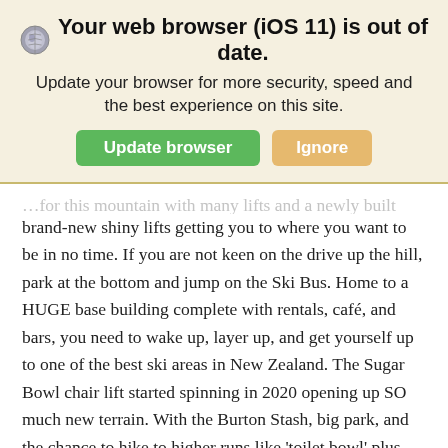[Figure (screenshot): Browser out-of-date warning banner with iOS 11 notice, 'Update browser' green button and 'Ignore' tan button on a cream background]
brand-new shiny lifts getting you to where you want to be in no time. If you are not keen on the drive up the hill, park at the bottom and jump on the Ski Bus. Home to a HUGE base building complete with rentals, café, and bars, you need to wake up, layer up, and get yourself up to one of the best ski areas in New Zealand. The Sugar Bowl chair lift started spinning in 2020 opening up SO much new terrain. With the Burton Stash, big park, and the chance to hike to higher runs like 'toilet bowl' plus some nice on-piste getting you back down to the base, this mountain is truly epic. Like Coronet Peak, this field also has a great learners area and booking lessons is easy as 1,2,3.
Shadow Basin leads you to that view. You know